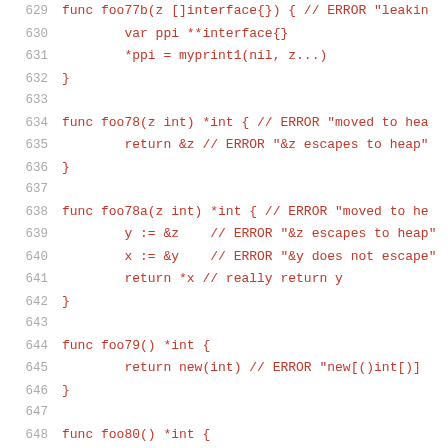629  func foo77b(z []interface{}) { // ERROR "leakin
630       var ppi **interface{}
631       *ppi = myprint1(nil, z...)
632  }
633
634  func foo78(z int) *int { // ERROR "moved to hea
635       return &z // ERROR "&z escapes to heap"
636  }
637
638  func foo78a(z int) *int { // ERROR "moved to he
639       y := &z   // ERROR "&z escapes to heap"
640       x := &y   // ERROR "&y does not escape"
641       return *x // really return y
642  }
643
644  func foo79() *int {
645       return new(int) // ERROR "new[()int[])
646  }
647
648  func foo80() *int {
649       var z *int